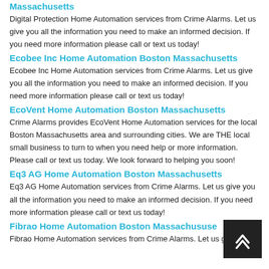Massachusetts
Digital Protection Home Automation services from Crime Alarms. Let us give you all the information you need to make an informed decision. If you need more information please call or text us today!
Ecobee Inc Home Automation Boston Massachusetts
Ecobee Inc Home Automation services from Crime Alarms. Let us give you all the information you need to make an informed decision. If you need more information please call or text us today!
EcoVent Home Automation Boston Massachusetts
Crime Alarms provides EcoVent Home Automation services for the local Boston Massachusetts area and surrounding cities. We are THE local small business to turn to when you need help or more information. Please call or text us today. We look forward to helping you soon!
Eq3 AG Home Automation Boston Massachusetts
Eq3 AG Home Automation services from Crime Alarms. Let us give you all the information you need to make an informed decision. If you need more information please call or text us today!
Fibrao Home Automation Boston Massachusetts
Fibrao Home Automation services from Crime Alarms. Let us give you